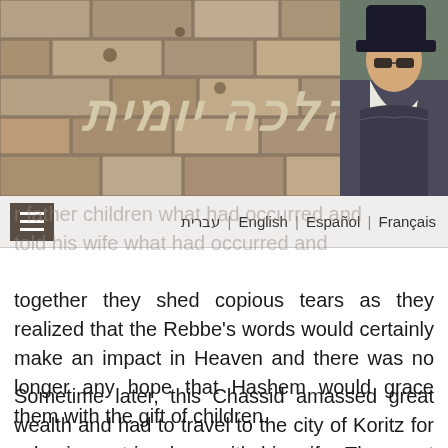[Figure (photo): Website header banner with stone wall (Western Wall) background texture, Hebrew title 'הלכה יומית' in ornate lettering, and a photo of a Rabbi (elderly man with white beard wearing black hat and sunglasses) on the right side]
עברית | English | Español | Français
together they shed copious tears as they realized that the Rebbe's words would certainly make an impact in Heaven and there was no longer any hope that Hashem would grace them with the gift of children.
Sometime later, this Chassid amassed great wealth and had to travel to the city of Koritz for a business trip along with his wife. The great and saintly Rebbe, Rabbi Pinchas of Koritz, student of the great Rabbi Yisrael